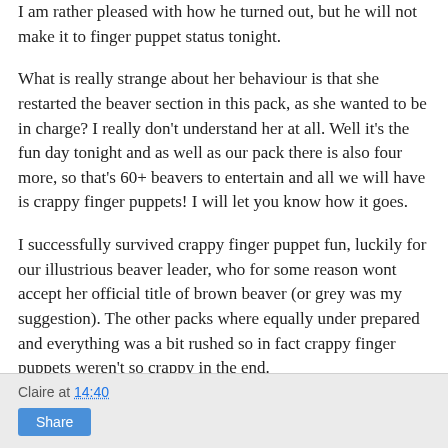I am rather pleased with how he turned out, but he will not make it to finger puppet status tonight.
What is really strange about her behaviour is that she restarted the beaver section in this pack, as she wanted to be in charge? I really don't understand her at all. Well it's the fun day tonight and as well as our pack there is also four more, so that's 60+ beavers to entertain and all we will have is crappy finger puppets! I will let you know how it goes.
I successfully survived crappy finger puppet fun, luckily for our illustrious beaver leader, who for some reason wont accept her official title of brown beaver (or grey was my suggestion). The other packs where equally under prepared and everything was a bit rushed so in fact crappy finger puppets weren't so crappy in the end.
Claire at 14:40  Share